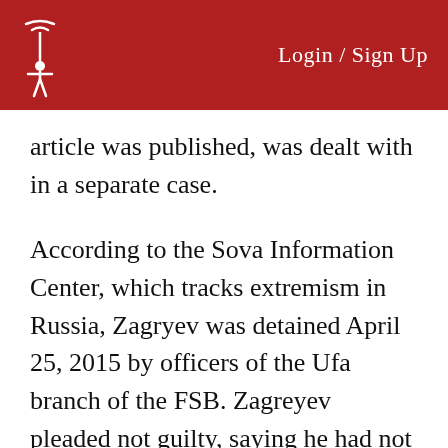Login / Sign Up
article was published, was dealt with in a separate case.
According to the Sova Information Center, which tracks extremism in Russia, Zagryev was detained April 25, 2015 by officers of the Ufa branch of the FSB. Zagreyev pleaded not guilty, saying he had not posted the article on his site. On his own blog, he wrote that his case seemed have been especially ordered by authorities as a show trial.